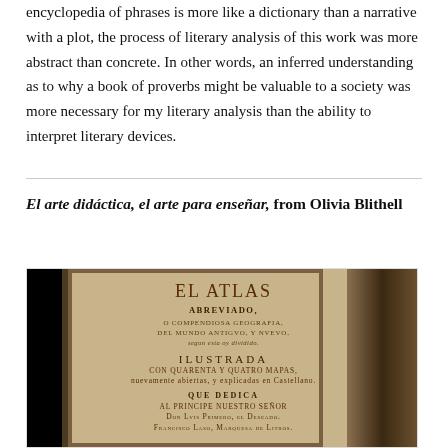encyclopedia of phrases is more like a dictionary than a narrative with a plot, the process of literary analysis of this work was more abstract than concrete. In other words, an inferred understanding as to why a book of proverbs might be valuable to a society was more necessary for my literary analysis than the ability to interpret literary devices.
El arte didáctica, el arte para enseñar, from Olivia Blithell
[Figure (photo): Photograph of an old Spanish book, showing the title page of 'El Atlas Abreviado, o Compendiosa Geografia, Del Mundo Antiguo, y Nuevo, segun esta oy dividido. Ilustrada con quarenta y quatro mapas, nuevamente abiertas, y explicadas en Castellano. Que Dedica al Principe Nuestro Señor Don Lvis Primero, el Deseado. Francisco Laso, Marquesa de Litros.' The book appears to be a historical atlas with a worn cover and spine.]